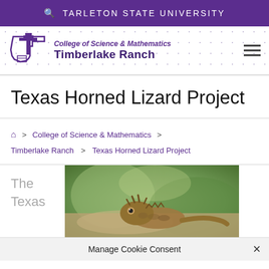TARLETON STATE UNIVERSITY
[Figure (logo): Tarleton State University T logo with Texas outline, College of Science & Mathematics Timberlake Ranch header with hamburger menu]
Texas Horned Lizard Project
Home > College of Science & Mathematics > Timberlake Ranch > Texas Horned Lizard Project
The Texas
[Figure (photo): Close-up photo of a Texas Horned Lizard on rocky ground with blurred green background]
Manage Cookie Consent ×